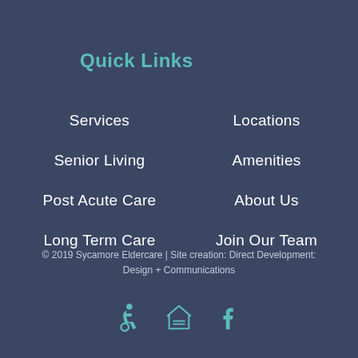Quick Links
Services
Locations
Senior Living
Amenities
Post Acute Care
About Us
Long Term Care
Join Our Team
© 2019 Sycamore Eldercare | Site creation: Direct Development: Design + Communications
[Figure (other): Three icons: wheelchair accessibility, equal housing, and Facebook]